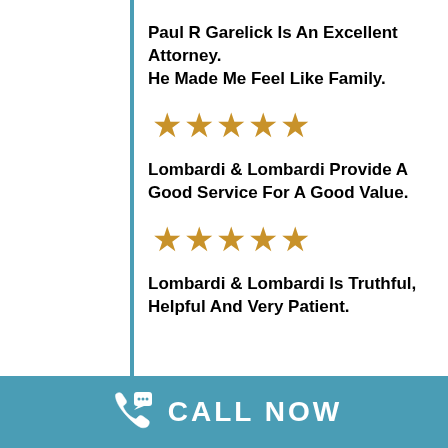Paul R Garelick Is An Excellent Attorney. He Made Me Feel Like Family.
[Figure (other): Five gold stars rating]
Lombardi & Lombardi Provide A Good Service For A Good Value.
[Figure (other): Five gold stars rating]
Lombardi & Lombardi Is Truthful, Helpful And Very Patient.
[Figure (other): Call Now button with phone and chat icon in teal bar]